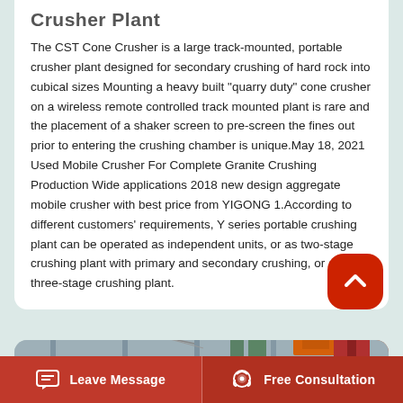Crusher Plant
The CST Cone Crusher is a large track-mounted, portable crusher plant designed for secondary crushing of hard rock into cubical sizes Mounting a heavy built "quarry duty" cone crusher on a wireless remote controlled track mounted plant is rare and the placement of a shaker screen to pre-screen the fines out prior to entering the crushing chamber is unique.May 18, 2021 Used Mobile Crusher For Complete Granite Crushing Production Wide applications 2018 new design aggregate mobile crusher with best price from YIGONG 1.According to different customers' requirements, Y series portable crushing plant can be operated as independent units, or as two-stage crushing plant with primary and secondary crushing, or as three-stage crushing plant.
[Figure (photo): Industrial crushers or mining/aggregate plant machinery photograph, partially visible at bottom of page.]
Leave Message   Free Consultation